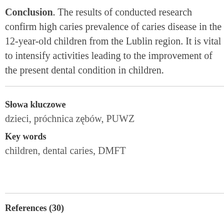Conclusion. The results of conducted research confirm high caries prevalence of caries disease in the 12-year-old children from the Lublin region. It is vital to intensify activities leading to the improvement of the present dental condition in children.
Słowa kluczowe
dzieci, próchnica zębów, PUWZ
Key words
children, dental caries, DMFT
References (30)